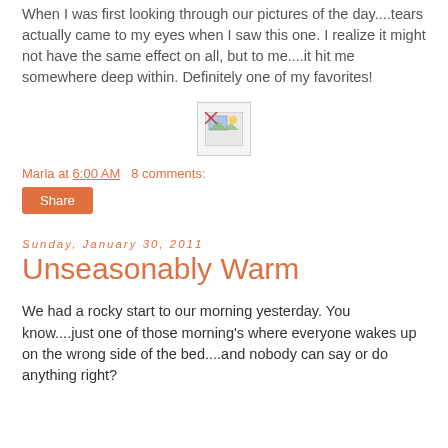When I was first looking through our pictures of the day....tears actually came to my eyes when I saw this one. I realize it might not have the same effect on all, but to me....it hit me somewhere deep within. Definitely one of my favorites!
[Figure (illustration): Broken image placeholder icon]
Marla at 6:00 AM   8 comments:
Share
Sunday, January 30, 2011
Unseasonably Warm
We had a rocky start to our morning yesterday. You know....just one of those morning's where everyone wakes up on the wrong side of the bed....and nobody can say or do anything right?